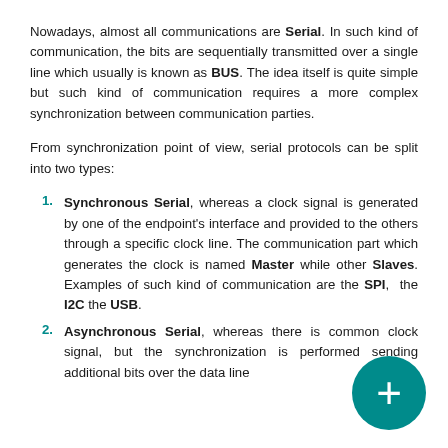Nowadays, almost all communications are Serial. In such kind of communication, the bits are sequentially transmitted over a single line which usually is known as BUS. The idea itself is quite simple but such kind of communication requires a more complex synchronization between communication parties.
From synchronization point of view, serial protocols can be split into two types:
Synchronous Serial, whereas a clock signal is generated by one of the endpoint's interface and provided to the others through a specific clock line. The communication part which generates the clock is named Master while other Slaves. Examples of such kind of communication are the SPI, the I2C the USB.
Asynchronous Serial, whereas there is common clock signal, but the synchronization is performed sending additional bits over the data line